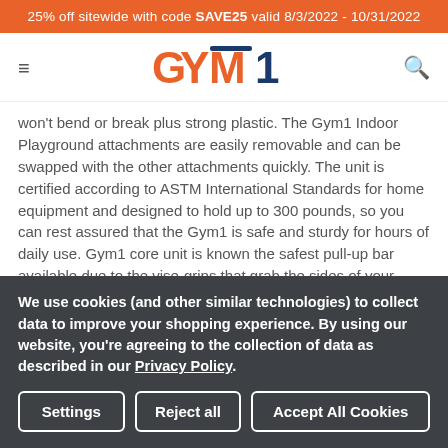25% off sitewide with code SAVE25 valid 8/3/2022 - 10/31/2022
[Figure (logo): GYM1 logo with orange G, Y, M and dark blue 1]
won't bend or break plus strong plastic. The Gym1 Indoor Playground attachments are easily removable and can be swapped with the other attachments quickly. The unit is certified according to ASTM International Standards for home equipment and designed to hold up to 300 pounds, so you can rest assured that the Gym1 is safe and sturdy for hours of daily use. Gym1 core unit is known the safest pull-up bar available due to the vise-grips that grab the sides of your doorway.
We use cookies (and other similar technologies) to collect data to improve your shopping experience. By using our website, you're agreeing to the collection of data as described in our Privacy Policy.